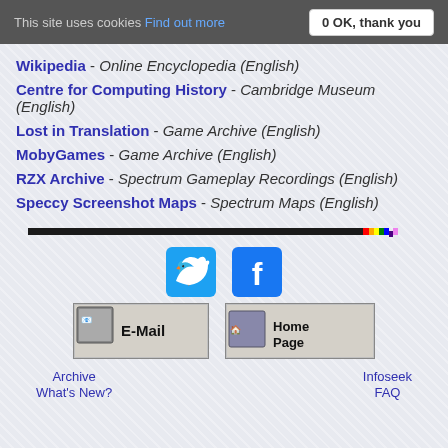This site uses cookies Find out more   0 OK, thank you
Wikipedia - Online Encyclopedia (English)
Centre for Computing History - Cambridge Museum (English)
Lost in Translation - Game Archive (English)
MobyGames - Game Archive (English)
RZX Archive - Spectrum Gameplay Recordings (English)
Speccy Screenshot Maps - Spectrum Maps (English)
[Figure (illustration): Rainbow-ended horizontal divider bar, black with rainbow right end]
[Figure (illustration): Twitter and Facebook social media icons]
[Figure (illustration): E-Mail button and Home Page button]
Archive   What's New?   Infoseek   FAQ